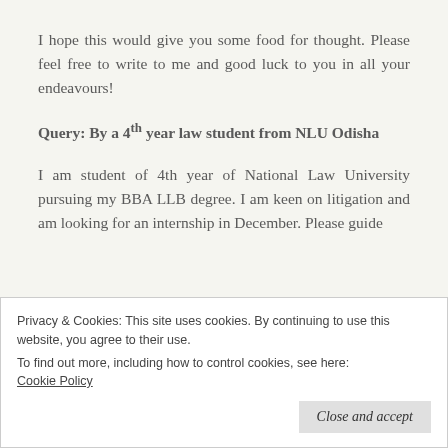I hope this would give you some food for thought. Please feel free to write to me and good luck to you in all your endeavours!
Query: By a 4th year law student from NLU Odisha
I am student of 4th year of National Law University pursuing my BBA LLB degree. I am keen on litigation and am looking for an internship in December. Please guide
Privacy & Cookies: This site uses cookies. By continuing to use this website, you agree to their use.
To find out more, including how to control cookies, see here: Cookie Policy
Close and accept